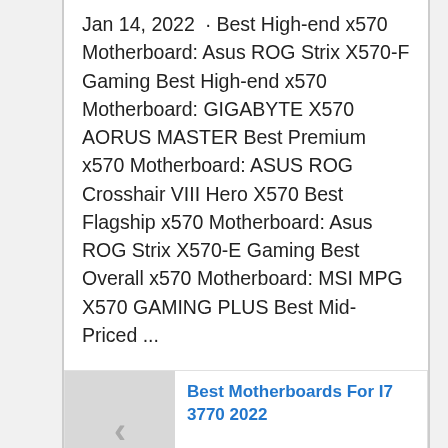Jan 14, 2022 · Best High-end x570 Motherboard: Asus ROG Strix X570-F Gaming Best High-end x570 Motherboard: GIGABYTE X570 AORUS MASTER Best Premium x570 Motherboard: ASUS ROG Crosshair VIII Hero X570 Best Flagship x570 Motherboard: Asus ROG Strix X570-E Gaming Best Overall x570 Motherboard: MSI MPG X570 GAMING PLUS Best Mid-Priced ...
[Figure (other): Related post card with left arrow thumbnail, title 'Best Motherboards For I7 3770 2022' in blue, and 'Powered by Inline Related Posts' footer]